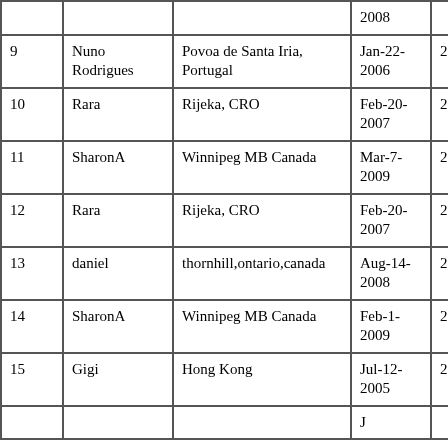| # | Name | Location | Date | Value |  |
| --- | --- | --- | --- | --- | --- |
|  |  |  | 2008 |  | 1 |
| 9 | Nuno Rodrigues | Povoa de Santa Iria, Portugal | Jan-22-2006 | 2802960 | 1 |
| 10 | Rara | Rijeka, CRO | Feb-20-2007 | 2789680 | 1 |
| 11 | SharonA | Winnipeg MB Canada | Mar-7-2009 | 2752360 | 1 |
| 12 | Rara | Rijeka, CRO | Feb-20-2007 | 2751700 | 1 |
| 13 | daniel | thornhill,ontario,canada | Aug-14-2008 | 2743860 | 1 |
| 14 | SharonA | Winnipeg MB Canada | Feb-1-2009 | 2741700 | 1 |
| 15 | Gigi | Hong Kong | Jul-12-2005 | 2738930 | 1 |
|  |  |  | J |  |  |